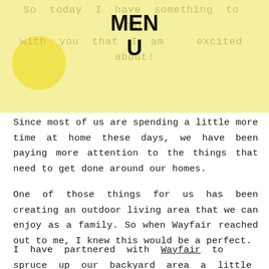So today I have something to share with you that I am excited about!
MENU
Since most of us are spending a little more time at home these days, we have been paying more attention to the things that need to get done around our homes.
One of those things for us has been creating an outdoor living area that we can enjoy as a family. So when Wayfair reached out to me, I knew this would be a perfect.
I have partnered with Wayfair to spruce up our backyard area a little